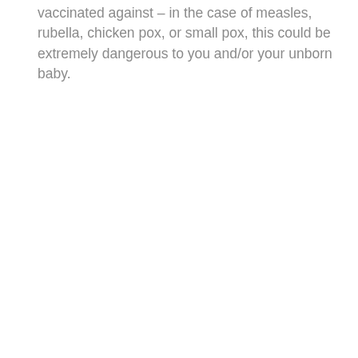vaccinated against – in the case of measles, rubella, chicken pox, or small pox, this could be extremely dangerous to you and/or your unborn baby.